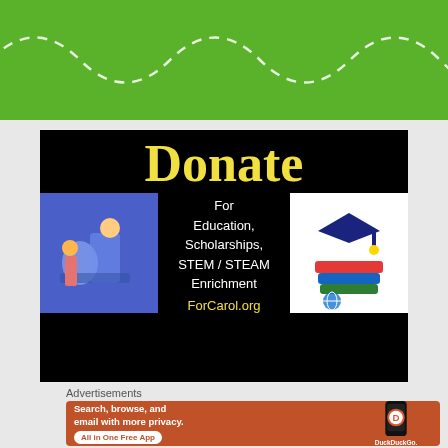[Figure (illustration): Green banner with white dashed wavy line across it]
[Figure (infographic): Black banner reading 'Donate For Education, Scholarships, STEM / STEAM Enrichment ForCarol.org' with illustration of students on left and graduation cap with books on right]
Advertisements
[Figure (illustration): DuckDuckGo advertisement: orange background with text 'Search, browse, and email with more privacy. All in One Free App' and a phone showing DuckDuckGo logo]